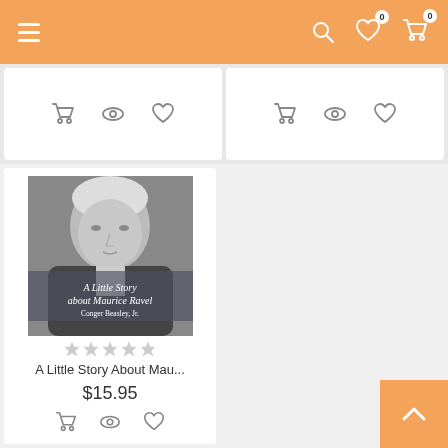Navigation bar with hamburger menu, search, wishlist (0), and cart (0)
[Figure (screenshot): Partial product cards from previous row showing cart, eye, and heart action icons]
[Figure (photo): Book cover: 'A Little Story about Maurice Ravel' by Conger Beasley Jr., showing black and white portrait of Maurice Ravel]
A Little Story About Mau...
$15.95
[Figure (infographic): Star rating icons (5 stars, partially filled)]
[Figure (screenshot): Product action buttons: cart, eye/view, and heart/wishlist icons]